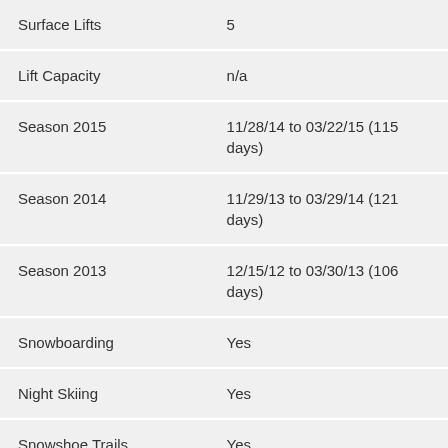| Surface Lifts | 5 |
| Lift Capacity | n/a |
| Season 2015 | 11/28/14 to 03/22/15 (115 days) |
| Season 2014 | 11/29/13 to 03/29/14 (121 days) |
| Season 2013 | 12/15/12 to 03/30/13 (106 days) |
| Snowboarding | Yes |
| Night Skiing | Yes |
| Snowshoe Trails | Yes |
| Snow Tubing | Yes |
| Half Pipe | Yes |